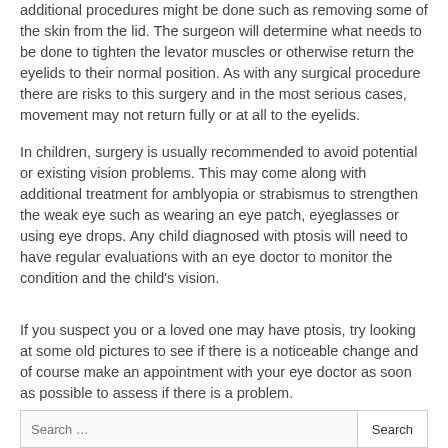additional procedures might be done such as removing some of the skin from the lid. The surgeon will determine what needs to be done to tighten the levator muscles or otherwise return the eyelids to their normal position. As with any surgical procedure there are risks to this surgery and in the most serious cases, movement may not return fully or at all to the eyelids.
In children, surgery is usually recommended to avoid potential or existing vision problems. This may come along with additional treatment for amblyopia or strabismus to strengthen the weak eye such as wearing an eye patch, eyeglasses or using eye drops. Any child diagnosed with ptosis will need to have regular evaluations with an eye doctor to monitor the condition and the child's vision.
If you suspect you or a loved one may have ptosis, try looking at some old pictures to see if there is a noticeable change and of course make an appointment with your eye doctor as soon as possible to assess if there is a problem.